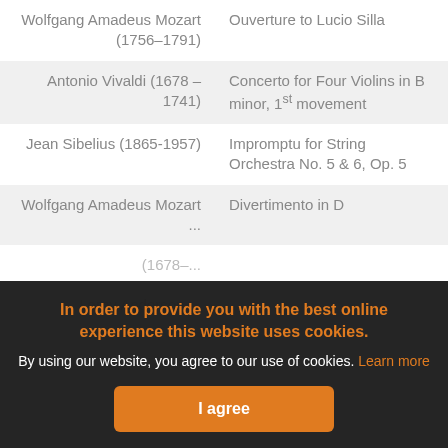| Composer | Work |
| --- | --- |
| Wolfgang Amadeus Mozart (1756–1791) | Ouverture to Lucio Silla |
| Antonio Vivaldi (1678 – 1741) | Concerto for Four Violins in B minor, 1st movement |
| Jean Sibelius (1865-1957) | Impromptu for String Orchestra No. 5 & 6, Op. 5 |
| Wolfgang Amadeus Mozart ... | Divertimento in D ... |
In order to provide you with the best online experience this website uses cookies.
By using our website, you agree to our use of cookies. Learn more
I agree